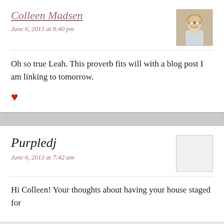Colleen Madsen
June 6, 2013 at 8:40 pm
Oh so true Leah. This proverb fits will with a blog post I am linking to tomorrow.
[Figure (photo): Profile photo of a woman with blonde hair and glasses, smiling]
Purpledj
June 6, 2013 at 7:42 am
Hi Colleen! Your thoughts about having your house staged for